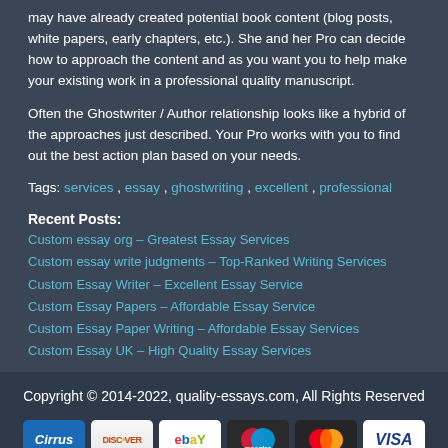may have already created potential book content (blog posts, white papers, early chapters, etc.). She and her Pro can decide how to approach the content and as you want you to help make your existing work in a professional quality manuscript.
Often the Ghostwriter / Author relationship looks like a hybrid of the approaches just described. Your Pro works with you to find out the best action plan based on your needs.
Tags: services, essay, ghostwriting, excellent, professional
Recent Posts:
Custom essay org – Greatest Essay Services
Custom essay write judgments – Top-Ranked Writing Services
Custom Essay Writer – Excellent Essay Service
Custom Essay Papers – Affordable Essay Service
Custom Essay Paper Writing – Affordable Essay Services
Custom Essay UK – High Quality Essay Services
Copyright © 2014-2022, quality-essays.com, All Rights Reserved
[Figure (other): Payment method icons: Cirrus, Discover, eBay, Maestro, MasterCard, VISA]